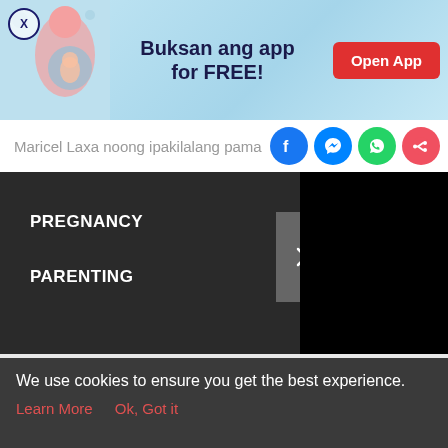[Figure (screenshot): App advertisement banner with illustration of pregnant woman, text 'Buksan ang app for FREE!' and red Open App button]
Maricel Laxa noong ipakilalang pama
[Figure (infographic): Social share icons: Facebook, Messenger, WhatsApp, and general share button]
PREGNANCY
PARENTING
[Figure (screenshot): Dark navigation menu with black video area]
[Figure (infographic): Bottom navigation bar with Tools, Articles, center pregnant woman icon, Feed, and Poll tabs]
We use cookies to ensure you get the best experience.
Learn More    Ok, Got it